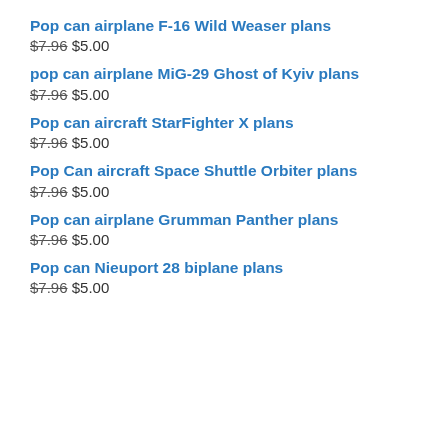Pop can airplane F-16 Wild Weaser plans
$7.96 $5.00
pop can airplane MiG-29 Ghost of Kyiv plans
$7.96 $5.00
Pop can aircraft StarFighter X plans
$7.96 $5.00
Pop Can aircraft Space Shuttle Orbiter plans
$7.96 $5.00
Pop can airplane Grumman Panther plans
$7.96 $5.00
Pop can Nieuport 28 biplane plans
$7.96 $5.00